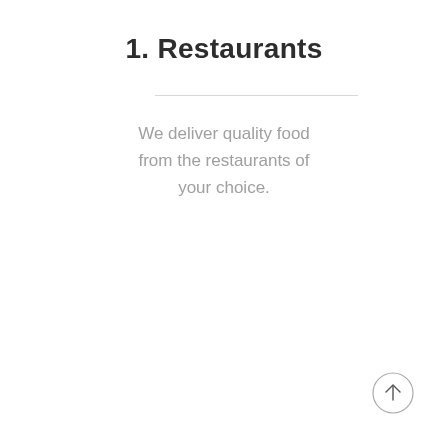1. Restaurants
We deliver quality food from the restaurants of your choice.